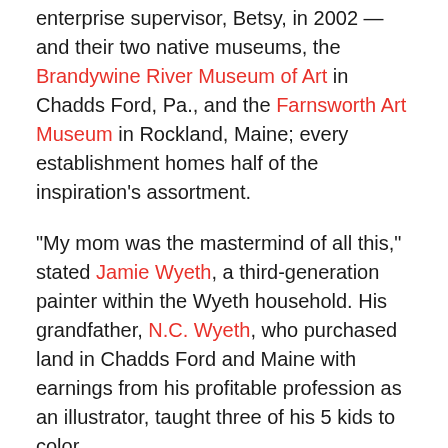enterprise supervisor, Betsy, in 2002 — and their two native museums, the Brandywine River Museum of Art in Chadds Ford, Pa., and the Farnsworth Art Museum in Rockland, Maine; every establishment homes half of the inspiration's assortment.
"My mom was the mastermind of all this," stated Jamie Wyeth, a third-generation painter within the Wyeth household. His grandfather, N.C. Wyeth, who purchased land in Chadds Ford and Maine with earnings from his profitable profession as an illustrator, taught three of his 5 kids to color.
At 20, the precocious Andrew was obtained within the artwork world as the brand new Winslow Homer after a solo present of watercolors on the prestigious Macbeth Gallery in New York. In 1948, the Museum of Trendy Artwork purchased "Christina's World," his portray of a